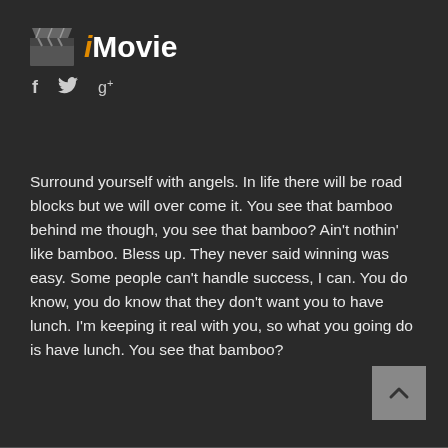iMovie
f  🐦  g+
Surround yourself with angels. In life there will be road blocks but we will over come it. You see that bamboo behind me though, you see that bamboo? Ain't nothin' like bamboo. Bless up. They never said winning was easy. Some people can't handle success, I can. You do know, you do know that they don't want you to have lunch. I'm keeping it real with you, so what you going do is have lunch. You see that bamboo?